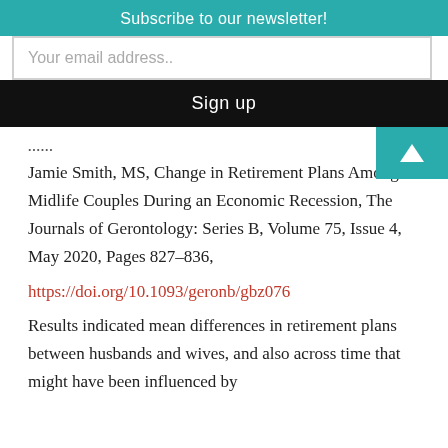Subscribe to our newsletter!
Your email address..
Sign up
Jamie Smith, MS, Change in Retirement Plans Among Midlife Couples During an Economic Recession, The Journals of Gerontology: Series B, Volume 75, Issue 4, May 2020, Pages 827–836,
https://doi.org/10.1093/geronb/gbz076
Results indicated mean differences in retirement plans between husbands and wives, and also across time that might have been influenced by